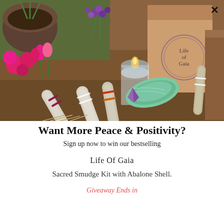[Figure (photo): Flatlay photo of smudge sticks, abalone shell, candle in glass, purple and pink flowers, amethyst crystal, and a kraft paper bag with 'Life of Gaia' circular logo on a wooden surface.]
Want More Peace & Positivity?
Sign up now to win our bestselling
Life Of Gaia
Sacred Smudge Kit with Abalone Shell.
Giveaway Ends in